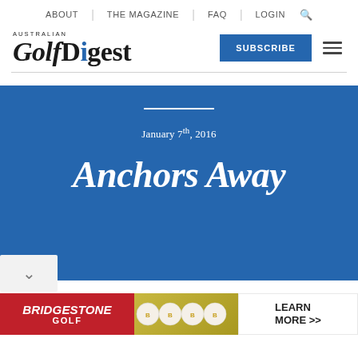ABOUT | THE MAGAZINE | FAQ | LOGIN
[Figure (logo): Australian Golf Digest logo with italic serif 'Golf' and bold 'Digest' with blue dot on 'i']
SUBSCRIBE
January 7th, 2016
Anchors Away
[Figure (other): Bridgestone Golf advertisement banner with red background logo, golf balls image, and 'LEARN MORE >>' text]